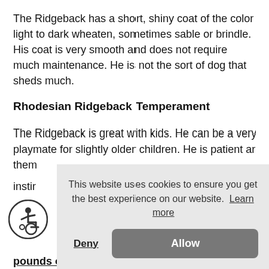The Ridgeback has a short, shiny coat of the color light to dark wheaten, sometimes sable or brindle. His coat is very smooth and does not require much maintenance. He is not the sort of dog that sheds much.
Rhodesian Ridgeback Temperament
The Ridgeback is great with kids. He can be a very good playmate for slightly older children. He is patient around them [obscured] instir[obscured] But i[obscured]
[Figure (other): Cookie consent banner overlay with text 'This website uses cookies to ensure you get the best experience on our website. Learn more' and two buttons: Deny and Allow]
[Figure (other): Accessibility icon (wheelchair user in circle)]
pounds or more